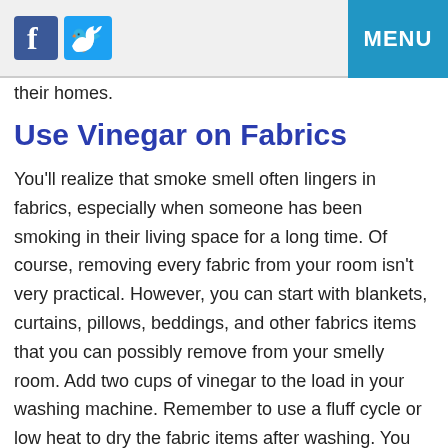MENU
their homes.
Use Vinegar on Fabrics
You'll realize that smoke smell often lingers in fabrics, especially when someone has been smoking in their living space for a long time. Of course, removing every fabric from your room isn't very practical. However, you can start with blankets, curtains, pillows, beddings, and other fabrics items that you can possibly remove from your smelly room. Add two cups of vinegar to the load in your washing machine. Remember to use a fluff cycle or low heat to dry the fabric items after washing. You may also wipe down your floors, furniture, and walls using vinegar as it cuts through odors naturally.
Use Baking Soda…